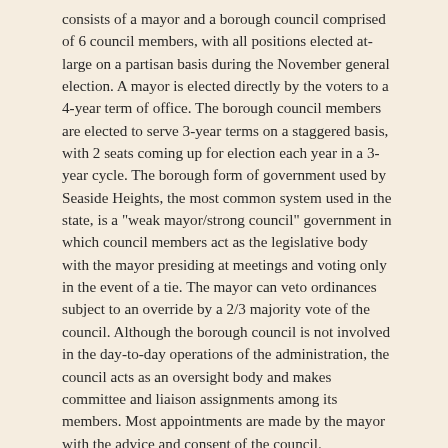consists of a mayor and a borough council comprised of 6 council members, with all positions elected at-large on a partisan basis during the November general election. A mayor is elected directly by the voters to a 4-year term of office. The borough council members are elected to serve 3-year terms on a staggered basis, with 2 seats coming up for election each year in a 3-year cycle. The borough form of government used by Seaside Heights, the most common system used in the state, is a "weak mayor/strong council" government in which council members act as the legislative body with the mayor presiding at meetings and voting only in the event of a tie. The mayor can veto ordinances subject to an override by a 2/3 majority vote of the council. Although the borough council is not involved in the day-to-day operations of the administration, the council acts as an oversight body and makes committee and liaison assignments among its members. Most appointments are made by the mayor with the advice and consent of the council.
The Borough of Seaside Heights has exercised its statutory option of hiring a professional municipal administrator to oversee the day-to-day operations of the administration.